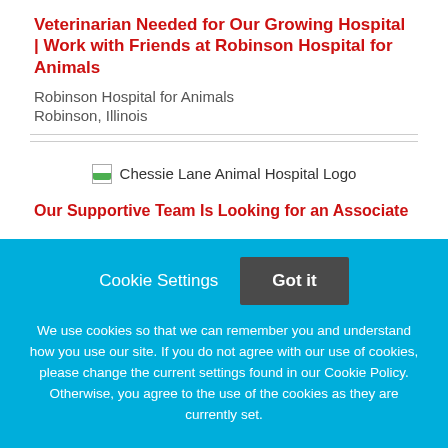Veterinarian Needed for Our Growing Hospital | Work with Friends at Robinson Hospital for Animals
Robinson Hospital for Animals
Robinson, Illinois
[Figure (logo): Chessie Lane Animal Hospital Logo (broken image placeholder)]
Our Supportive Team Is Looking for an Associate
Cookie Settings
Got it
We use cookies so that we can remember you and understand how you use our site. If you do not agree with our use of cookies, please change the current settings found in our Cookie Policy. Otherwise, you agree to the use of the cookies as they are currently set.